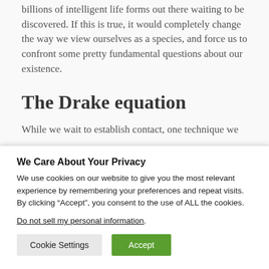billions of intelligent life forms out there waiting to be discovered. If this is true, it would completely change the way we view ourselves as a species, and force us to confront some pretty fundamental questions about our existence.
The Drake equation
While we wait to establish contact, one technique we
We Care About Your Privacy
We use cookies on our website to give you the most relevant experience by remembering your preferences and repeat visits. By clicking “Accept”, you consent to the use of ALL the cookies.
Do not sell my personal information.
Cookie Settings
Accept